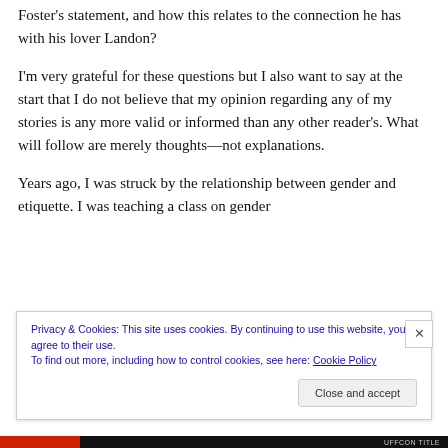Foster's statement, and how this relates to the connection he has with his lover Landon?
I'm very grateful for these questions but I also want to say at the start that I do not believe that my opinion regarding any of my stories is any more valid or informed than any other reader's. What will follow are merely thoughts—not explanations.
Years ago, I was struck by the relationship between gender and etiquette. I was teaching a class on gender
Privacy & Cookies: This site uses cookies. By continuing to use this website, you agree to their use.
To find out more, including how to control cookies, see here: Cookie Policy